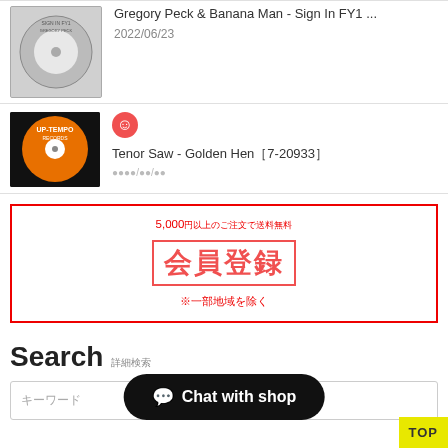[Figure (photo): Vinyl record thumbnail (white label) with text beside it: 'Gregory Peck & Banana Man - Sign In FY1...' and date 2022/06/23]
Gregory Peck & Banana Man - Sign In FY1...
2022/06/23
[Figure (photo): Orange vinyl record (UP-TEMPO label) thumbnail with smiley face icon and title text]
Tenor Saw - Golden Hen[7-20933]
5,000円以上のご注文で送料無料
会員登録
※一部地域を除く
Search 詳細検索
キーワード
Chat with shop